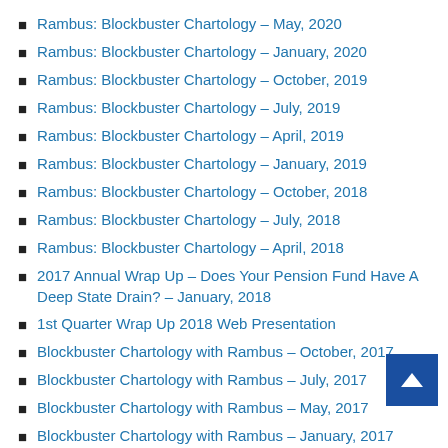Rambus: Blockbuster Chartology – May, 2020
Rambus: Blockbuster Chartology – January, 2020
Rambus: Blockbuster Chartology – October, 2019
Rambus: Blockbuster Chartology – July, 2019
Rambus: Blockbuster Chartology – April, 2019
Rambus: Blockbuster Chartology – January, 2019
Rambus: Blockbuster Chartology – October, 2018
Rambus: Blockbuster Chartology – July, 2018
Rambus: Blockbuster Chartology – April, 2018
2017 Annual Wrap Up – Does Your Pension Fund Have A Deep State Drain? – January, 2018
1st Quarter Wrap Up 2018 Web Presentation
Blockbuster Chartology with Rambus – October, 2017
Blockbuster Chartology with Rambus – July, 2017
Blockbuster Chartology with Rambus – May, 2017
Blockbuster Chartology with Rambus – January, 2017
Blockbuster Chartology with Rambus – October, 20[cut off]